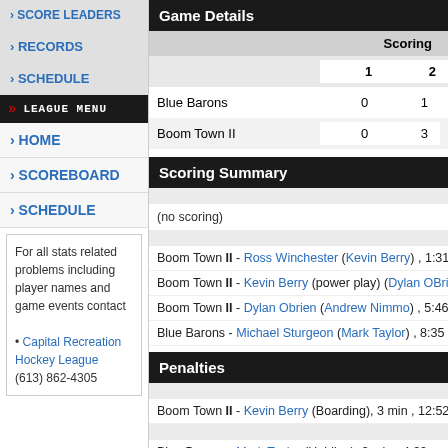SCORE LEADERS
RECORDS
SCHEDULE
LEAGUE MENU
HOME
SCOREBOARD
SCHEDULE
For all stats related problems including player names and game events contact
• Capital Recreation Hockey League
(613) 862-4305
Game Details
|  | 1 | 2 |
| --- | --- | --- |
| Blue Barons | 0 | 1 |
| Boom Town II | 0 | 3 |
Scoring Summary
(no scoring)
Boom Town II - Ross Winchester (Kevin Berry) , 1:31
Boom Town II - Kevin Berry (power play) (Dylan OBrien) , 5:05
Boom Town II - Dylan Obrien (Andrew Nimmo) , 5:46
Blue Barons - Michael Sturgeon (Mark Taylor) , 8:35
Penalties
Boom Town II - Kevin Berry (Boarding), 3 min , 12:52
Blue Barons - Mark Taylor (Holding), 3 min , 4:32
Blue Barons - Mark Taylor (Body Checking), 3 min , 12:14
Blue Barons - Brad Orcutt (Roughing), 3 min , 13:51
Boom Town II - Ross Winchester (Roughing), 3 min , 13:51